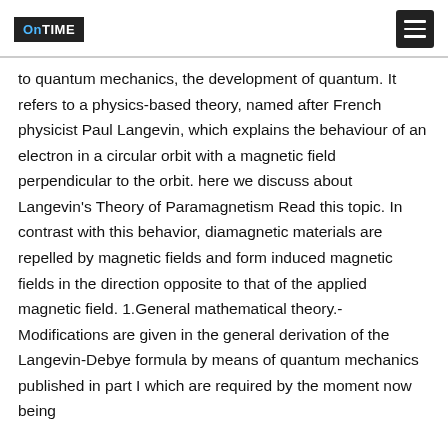ONTIME [menu button]
to quantum mechanics, the development of quantum. It refers to a physics-based theory, named after French physicist Paul Langevin, which explains the behaviour of an electron in a circular orbit with a magnetic field perpendicular to the orbit. here we discuss about Langevin's Theory of Paramagnetism Read this topic. In contrast with this behavior, diamagnetic materials are repelled by magnetic fields and form induced magnetic fields in the direction opposite to that of the applied magnetic field. 1.General mathematical theory.-Modifications are given in the general derivation of the Langevin-Debye formula by means of quantum mechanics published in part I which are required by the moment now being